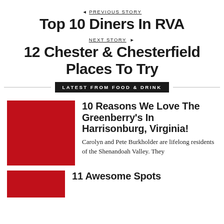◄ PREVIOUS STORY
Top 10 Diners In RVA
NEXT STORY ►
12 Chester & Chesterfield Places To Try
LATEST FROM FOOD & DRINK
[Figure (photo): Red thumbnail image placeholder for article]
10 Reasons We Love The Greenberry's In Harrisonburg, Virginia!
Carolyn and Pete Burkholder are lifelong residents of the Shenandoah Valley. They
[Figure (photo): Red thumbnail image placeholder for second article]
11 Awesome Spots